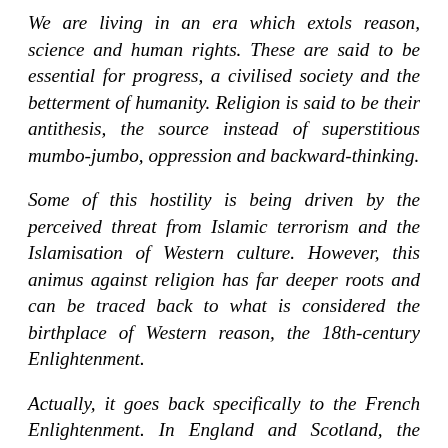We are living in an era which extols reason, science and human rights. These are said to be essential for progress, a civilised society and the betterment of humanity. Religion is said to be their antithesis, the source instead of superstitious mumbo-jumbo, oppression and backward-thinking.
Some of this hostility is being driven by the perceived threat from Islamic terrorism and the Islamisation of Western culture. However, this animus against religion has far deeper roots and can be traced back to what is considered the birthplace of Western reason, the 18th-century Enlightenment.
Actually, it goes back specifically to the French Enlightenment. In England and Scotland, the Enlightenment developed reason and political liberty within the framework of Biblical belief. In France, by contrast, anti-clericalism morphed into fundamental hostility to Christianity and to religion